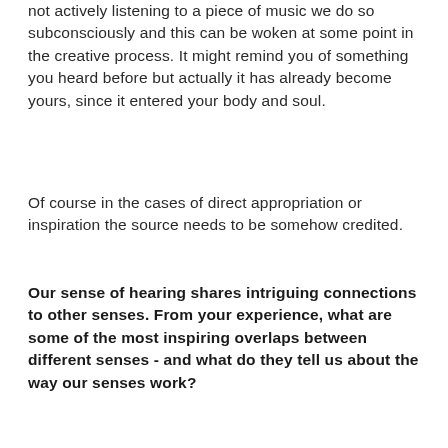not actively listening to a piece of music we do so subconsciously and this can be woken at some point in the creative process. It might remind you of something you heard before but actually it has already become yours, since it entered your body and soul.
Of course in the cases of direct appropriation or inspiration the source needs to be somehow credited.
Our sense of hearing shares intriguing connections to other senses. From your experience, what are some of the most inspiring overlaps between different senses - and what do they tell us about the way our senses work?
For me, the sense of hearing is probably the best way of experiencing the present. Not the past and neither the future. When you focus on the everyday soundscape you realise that you are connected with the Now and the Here. It's